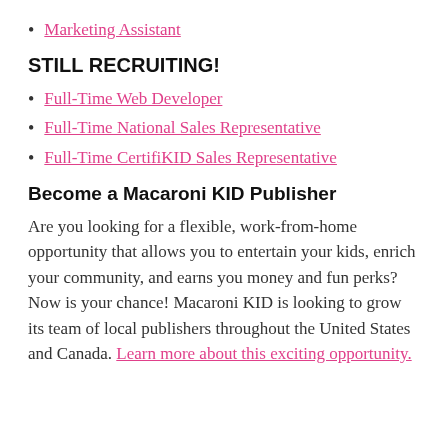Marketing Assistant
STILL RECRUITING!
Full-Time Web Developer
Full-Time National Sales Representative
Full-Time CertifiKID Sales Representative
Become a Macaroni KID Publisher
Are you looking for a flexible, work-from-home opportunity that allows you to entertain your kids, enrich your community, and earns you money and fun perks? Now is your chance! Macaroni KID is looking to grow its team of local publishers throughout the United States and Canada. Learn more about this exciting opportunity.